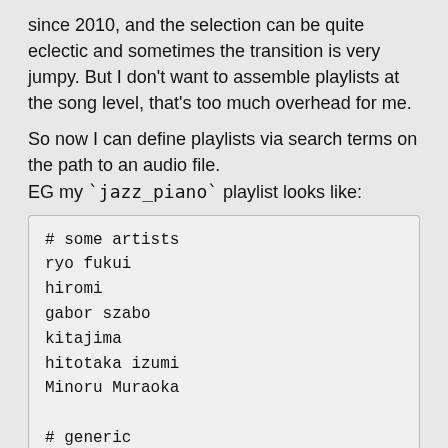since 2010, and the selection can be quite eclectic and sometimes the transition is very jumpy. But I don't want to assemble playlists at the song level, that's too much overhead for me.
So now I can define playlists via search terms on the path to an audio file.
EG my `jazz_piano` playlist looks like:
# some artists
ryo fukui
hiromi
gabor szabo
kitajima
hitotaka izumi
Minoru Muraoka

# generic
the script can be found here